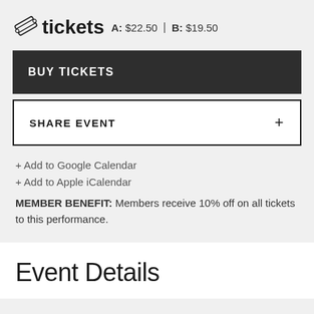tickets  A: $22.50  |  B: $19.50
BUY TICKETS
SHARE EVENT
+ Add to Google Calendar
+ Add to Apple iCalendar
MEMBER BENEFIT: Members receive 10% off on all tickets to this performance.
Event Details